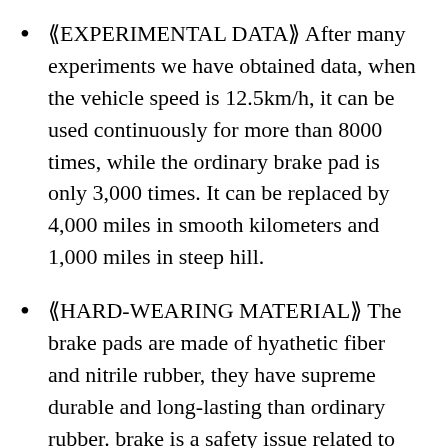〖EXPERIMENTAL DATA〗 After many experiments we have obtained data, when the vehicle speed is 12.5km/h, it can be used continuously for more than 8000 times, while the ordinary brake pad is only 3,000 times. It can be replaced by 4,000 miles in smooth kilometers and 1,000 miles in steep hill.
〖HARD-WEARING MATERIAL〗 The brake pads are made of hyathetic fiber and nitrile rubber, they have supreme durable and long-lasting than ordinary rubber. brake is a safety issue related to life, please do not use poor quality brake pads.